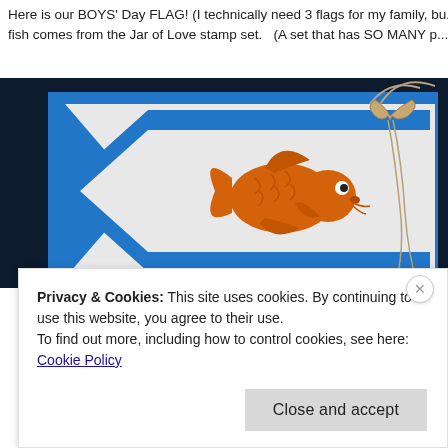Here is our BOYS' Day FLAG!  (I technically need 3 flags for my family, bu... fish comes from the Jar of Love stamp set.    (A set that has SO MANY p...
[Figure (photo): Close-up photo of a handmade Boys' Day flag card: a white pennant shape with a blue border containing an orange goldfish stamp, tied with twine/string at the top right corner, set against a dark navy background with blue mat.]
Privacy & Cookies: This site uses cookies. By continuing to use this website, you agree to their use.
To find out more, including how to control cookies, see here: Cookie Policy
Close and accept